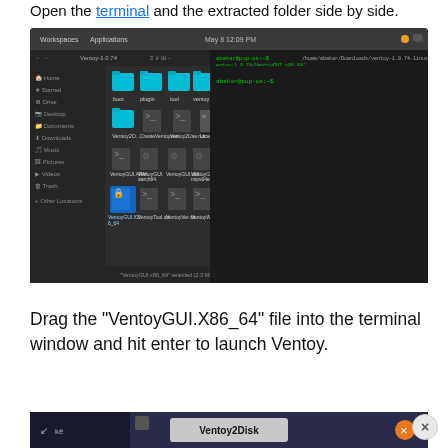Open the terminal and the extracted folder side by side.
[Figure (screenshot): Screenshot showing a file manager with extracted Ventoy folder contents on the left side and a terminal window on the right side with a command being run to navigate to the VentoyGUI.x86_64 file.]
Drag the “VentoyGUI.X86_64” file into the terminal window and hit enter to launch Ventoy.
[Figure (screenshot): Partial screenshot showing the top bar of the Ventoy2Disk application window with a close button.]